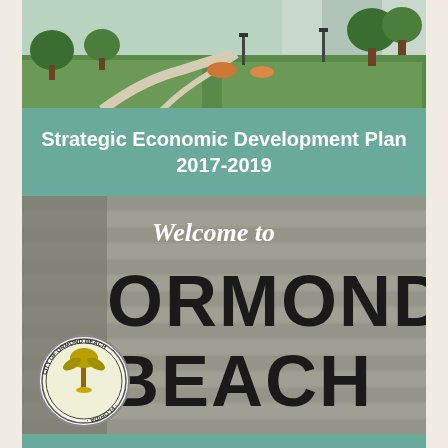[Figure (photo): Aerial or ground-level photo of a park or civic area with green lawns, pathways, and trees]
Strategic Economic Development Plan
2017-2019
[Figure (photo): Photo of a welcome sign reading 'Welcome to ORMOND BEACH' on a stone wall, with the City of Ormond Beach, Florida seal in the lower left corner]